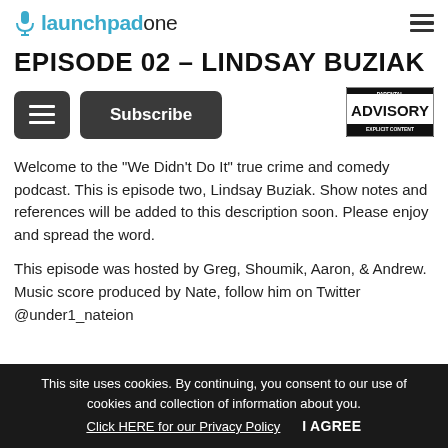launchpadone [logo + hamburger menu]
EPISODE 02 - LINDSAY BUZIAK
[Figure (other): Dark rounded button with three horizontal lines (list/menu icon) and a Subscribe button. Parental Advisory Explicit Content badge on the right.]
Welcome to the "We Didn't Do It" true crime and comedy podcast. This is episode two, Lindsay Buziak. Show notes and references will be added to this description soon. Please enjoy and spread the word.
This episode was hosted by Greg, Shoumik, Aaron, & Andrew.
Music score produced by Nate, follow him on Twitter @under1_nateion
This site uses cookies. By continuing, you consent to our use of cookies and collection of information about you. Click HERE for our Privacy Policy   I AGREE